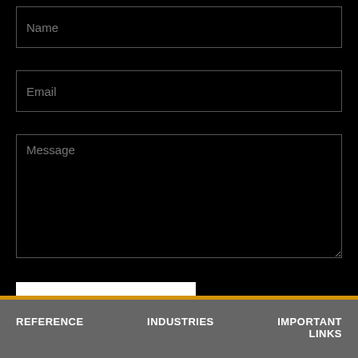Name
Email
Message
SEND MESSAGE
REFERENCE   INDUSTRIES   IMPORTANT LINKS